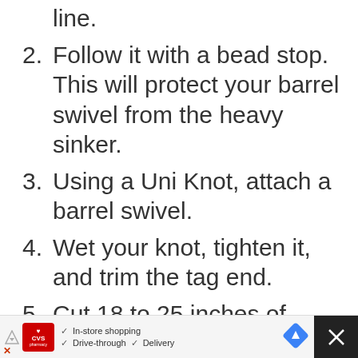line.
2. Follow it with a bead stop. This will protect your barrel swivel from the heavy sinker.
3. Using a Uni Knot, attach a barrel swivel.
4. Wet your knot, tighten it, and trim the tag end.
5. Cut 18 to 25 inches of leader, using wire for species with aggressive teeth.
[Figure (screenshot): CVS pharmacy advertisement banner showing in-store shopping, drive-through, and delivery options with navigation arrow icon and close button]